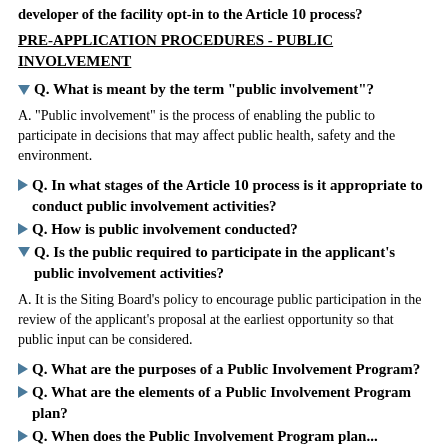developer of the facility opt-in to the Article 10 process?
PRE-APPLICATION PROCEDURES - PUBLIC INVOLVEMENT
Q. What is meant by the term "public involvement"?
A. "Public involvement" is the process of enabling the public to participate in decisions that may affect public health, safety and the environment.
Q. In what stages of the Article 10 process is it appropriate to conduct public involvement activities?
Q. How is public involvement conducted?
Q. Is the public required to participate in the applicant's public involvement activities?
A. It is the Siting Board's policy to encourage public participation in the review of the applicant's proposal at the earliest opportunity so that public input can be considered.
Q. What are the purposes of a Public Involvement Program?
Q. What are the elements of a Public Involvement Program plan?
Q. When does the Public Involvement Program plan...